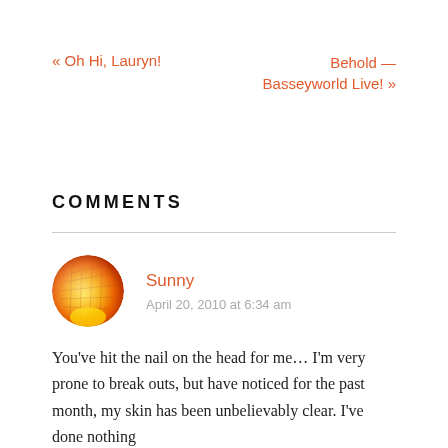« Oh Hi, Lauryn!
Behold — Basseyworld Live! »
COMMENTS
[Figure (photo): Avatar image of commenter Sunny — a glowing orange/yellow sphere resembling a sun]
Sunny
April 20, 2010 at 6:34 am
You've hit the nail on the head for me… I'm very prone to break outs, but have noticed for the past month, my skin has been unbelievably clear. I've done nothing